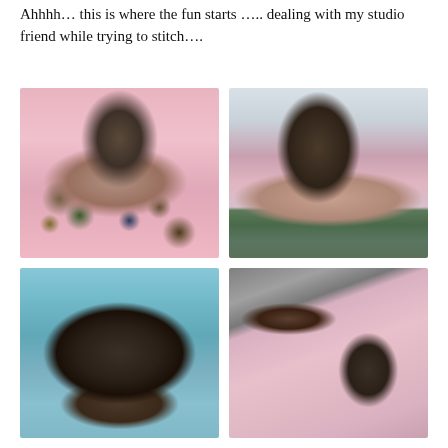Ahhhh… this is where the fun starts ….. dealing with my studio friend while trying to stitch….
[Figure (photo): A dark tabby cat sitting on pink polka-dot fabric with colorful circle-patterned material visible underneath]
[Figure (photo): Back view of a dark cat on pink polka-dot fabric on a green cutting mat, with a craft/sewing room in the background]
[Figure (photo): Close-up top-down view of a dark cat's head resting on a teal/turquoise cutting mat]
[Figure (photo): A dark cat resting on pink polka-dot fabric near a sewing machine area with scissors visible]